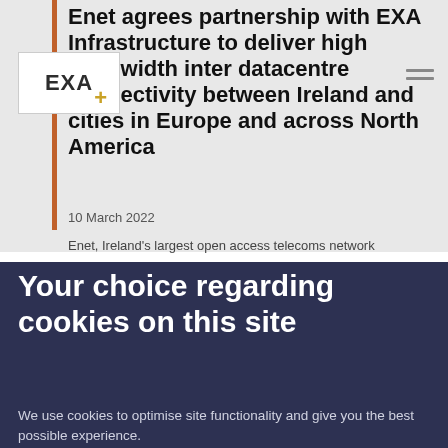Enet agrees partnership with EXA Infrastructure to deliver high bandwidth inter datacentre connectivity between Ireland and cities in Europe and across North America
10 March 2022
Enet, Ireland's largest open access telecoms network
Your choice regarding cookies on this site
We use cookies to optimise site functionality and give you the best possible experience.